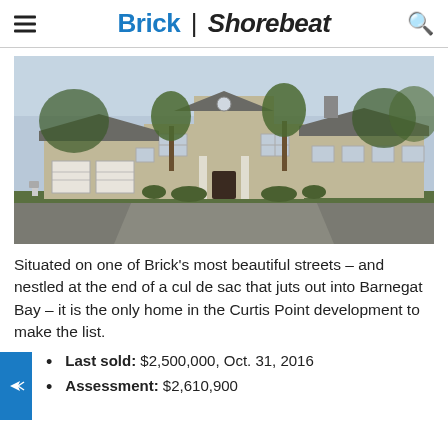Brick | Shorebeat
[Figure (photo): Exterior photo of a large residential home in the Curtis Point development, with a multi-car garage, wooded surroundings, and a driveway, taken during early spring.]
Situated on one of Brick’s most beautiful streets – and nestled at the end of a cul de sac that juts out into Barnegat Bay – it is the only home in the Curtis Point development to make the list.
Last sold: $2,500,000, Oct. 31, 2016
Assessment: $2,610,900